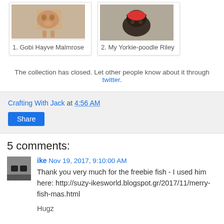[Figure (photo): Gallery with two pet photos. 1. Gobi Hayve Malmrose (cat), 2. My Yorkie-poodle Riley (dog in red hat).]
1. Gobi Hayve Malmrose
2. My Yorkie-poodle Riley
The collection has closed. Let other people know about it through twitter.
Crafting With Jack at 4:56 AM
Share
5 comments:
ike Nov 19, 2017, 9:10:00 AM
Thank you very much for the freebie fish - I used him here: http://suzy-ikesworld.blogspot.gr/2017/11/merry-fish-mas.html
Hugz